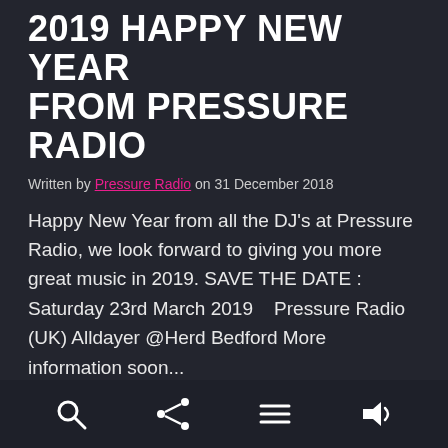2019 HAPPY NEW YEAR FROM PRESSURE RADIO
Written by Pressure Radio on 31 December 2018
Happy New Year from all the DJ's at Pressure Radio, we look forward to giving you more great music in 2019. SAVE THE DATE : Saturday 23rd March 2019    Pressure Radio (UK) Alldayer @Herd Bedford More information soon...
Read More
Navigation icons: search, share, menu, volume